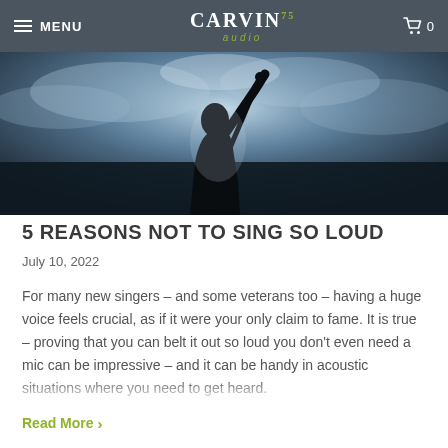MENU | CARVIN 75 audio | 0
[Figure (photo): Silhouette of a singer holding a microphone stand against a dramatic cloudy blue-grey background, backlit]
5 REASONS NOT TO SING SO LOUD
July 10, 2022
For many new singers – and some veterans too – having a huge voice feels crucial, as if it were your only claim to fame. It is true – proving that you can belt it out so loud you don't even need a mic can be impressive – and it can be handy in acoustic situations where you need to get heard.
Read More >